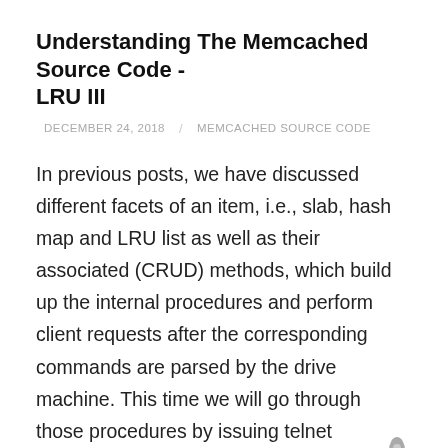Understanding The Memcached Source Code - LRU III
DECEMBER 24, 2018  /  MEMCACHED SOURCE CODE
In previous posts, we have discussed different facets of an item, i.e., slab, hash map and LRU list as well as their associated (CRUD) methods, which build up the internal procedures and perform client requests after the corresponding commands are parsed by the drive machine. This time we will go through those procedures by issuing telnet commands to a Memcached instance and